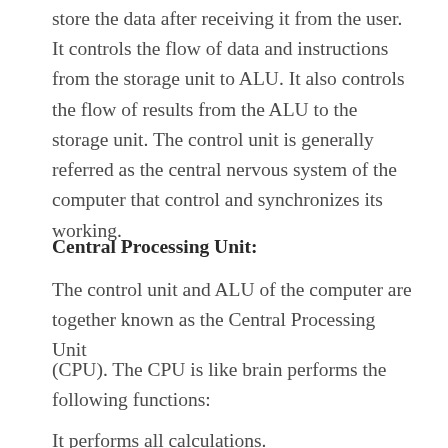store the data after receiving it from the user. It controls the flow of data and instructions from the storage unit to ALU. It also controls the flow of results from the ALU to the storage unit. The control unit is generally referred as the central nervous system of the computer that control and synchronizes its working.
Central Processing Unit:
The control unit and ALU of the computer are together known as the Central Processing Unit
(CPU). The CPU is like brain performs the following functions:
It performs all calculations.